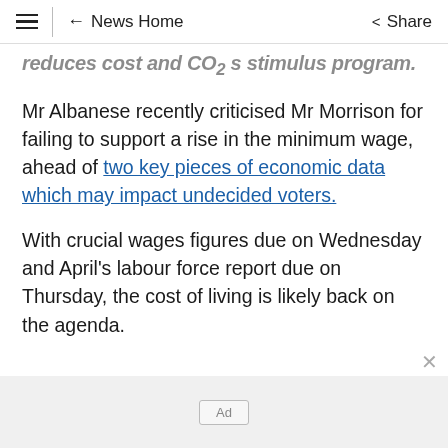≡  ← News Home  Share
...reduces cost and CO2 s stimulus program.
Mr Albanese recently criticised Mr Morrison for failing to support a rise in the minimum wage, ahead of two key pieces of economic data which may impact undecided voters.
With crucial wages figures due on Wednesday and April's labour force report due on Thursday, the cost of living is likely back on the agenda.
Ad